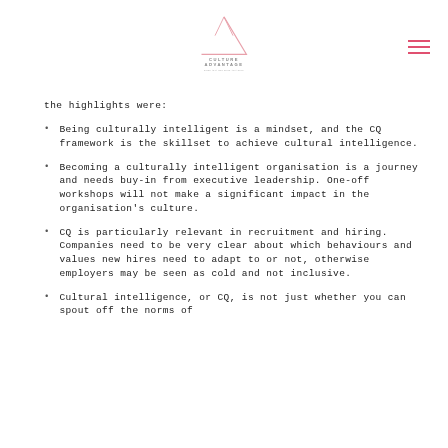Culture Advantage logo
the highlights were:
Being culturally intelligent is a mindset, and the CQ framework is the skillset to achieve cultural intelligence.
Becoming a culturally intelligent organisation is a journey and needs buy-in from executive leadership. One-off workshops will not make a significant impact in the organisation's culture.
CQ is particularly relevant in recruitment and hiring. Companies need to be very clear about which behaviours and values new hires need to adapt to or not, otherwise employers may be seen as cold and not inclusive.
Cultural intelligence, or CQ, is not just whether you can spout off the norms of